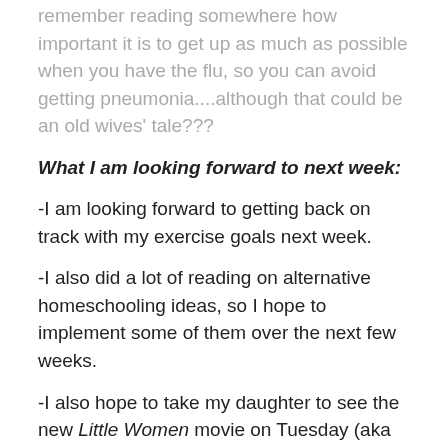remember reading somewhere how important it is to get up as much as possible when you have the flu, so you can avoid getting pneumonia....although that could be an old wives' tale???
What I am looking forward to next week:
-I am looking forward to getting back on track with my exercise goals next week.
-I also did a lot of reading on alternative homeschooling ideas, so I hope to implement some of them over the next few weeks.
-I also hope to take my daughter to see the new Little Women movie on Tuesday (aka cheap day at the theater!) We both love the book and all of the older movies, so I am sure that we will love this one as well. **Fun fact: My daughter loves Mrs. March's is also adaptation of the